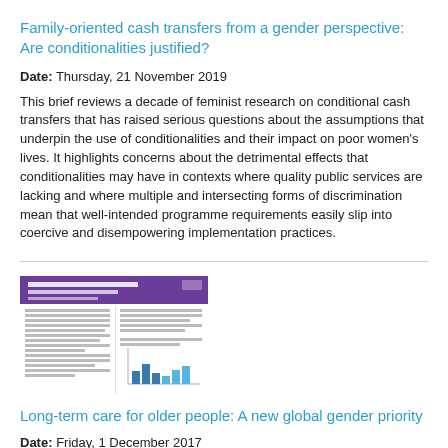Family-oriented cash transfers from a gender perspective: Are conditionalities justified?
Date: Thursday, 21 November 2019
This brief reviews a decade of feminist research on conditional cash transfers that has raised serious questions about the assumptions that underpin the use of conditionalities and their impact on poor women's lives. It highlights concerns about the detrimental effects that conditionalities may have in contexts where quality public services are lacking and where multiple and intersecting forms of discrimination mean that well-intended programme requirements easily slip into coercive and disempowering implementation practices.
[Figure (other): Thumbnail image of a document titled 'Long-term care for older people: A new global gender priority', showing a purple header bar and a bar chart at the bottom.]
Long-term care for older people: A new global gender priority
Date: Friday, 1 December 2017